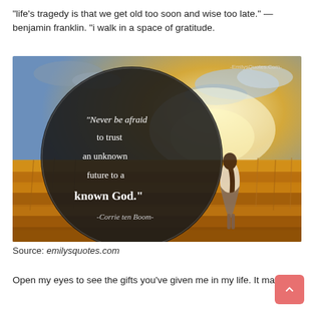“life’s tragedy is that we get old too soon and wise too late.” — benjamin franklin. “i walk in a space of gratitude.
[Figure (illustration): Inspirational quote image from EmilysQuotes.Com showing a girl standing in a golden wheat field at sunset, with a large dark circle overlay containing the quote: “Never be afraid to trust an unknown future to a known God.” attributed to -Corrie ten Boom-]
Source: emilysquotes.com
Open my eyes to see the gifts you’ve given me in my life. It may not